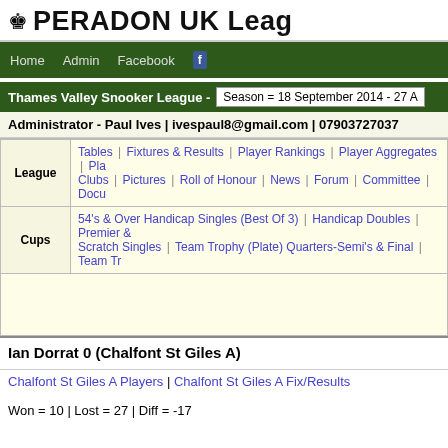PERADON UK Leag...
Home | Admin | Facebook
Thames Valley Snooker League - Season = 18 September 2014 - 27 A...
Administrator - Paul Ives | ivespaul8@gmail.com | 07903727037
|  | Links |
| --- | --- |
| League | Tables | Fixtures & Results | Player Rankings | Player Aggregates | Pla... | Clubs | Pictures | Roll of Honour | News | Forum | Committee | Docu... |
| Cups | 54's & Over Handicap Singles (Best Of 3) | Handicap Doubles | Premier ... | Scratch Singles | Team Trophy (Plate) Quarters-Semi's & Final | Team Tr... |
Ian Dorrat 0 (Chalfont St Giles A)
Chalfont St Giles A Players | Chalfont St Giles A Fix/Results
Won = 10 | Lost = 27 | Diff = -17